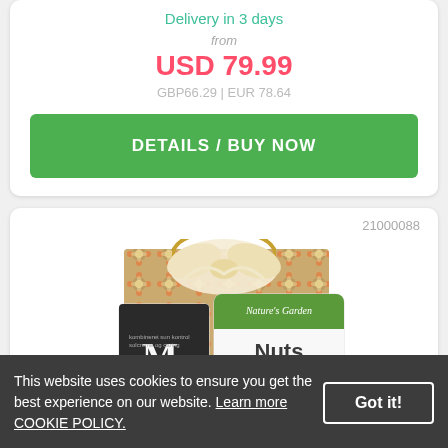Delivery in 3 days
from
USD 79.99
GBP66.29 | EUR 78.64
DETAILS / BUY NOW
21000088
[Figure (photo): Gift bag with floral pattern and a cream bow on top, alongside product boxes including Nature's Garden Nuts and an MO branded product.]
This website uses cookies to ensure you get the best experience on our website. Learn more COOKIE POLICY.
Got it!